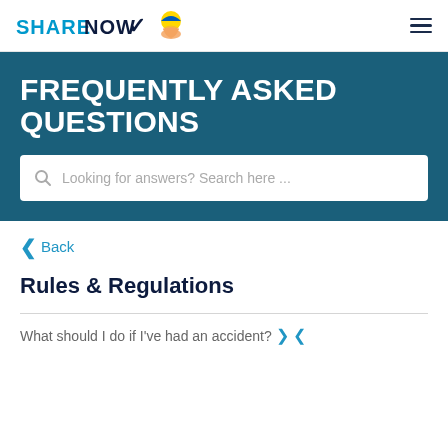SHARENOW
FREQUENTLY ASKED QUESTIONS
Looking for answers? Search here ...
< Back
Rules & Regulations
What should I do if I've had an accident?